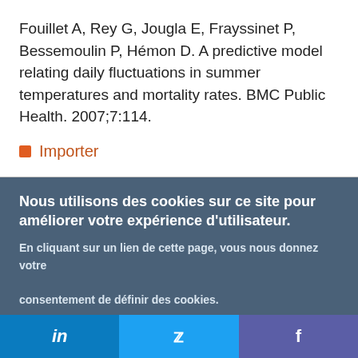Fouillet A, Rey G, Jougla E, Frayssinet P, Bessemoulin P, Hémon D. A predictive model relating daily fluctuations in summer temperatures and mortality rates. BMC Public Health. 2007;7:114.
Importer
Nous utilisons des cookies sur ce site pour améliorer votre expérience d'utilisateur. En cliquant sur un lien de cette page, vous nous donnez votre consentement de définir des cookies.
Oui, je suis d'accord | Plus d'infos
in | (twitter bird) | f